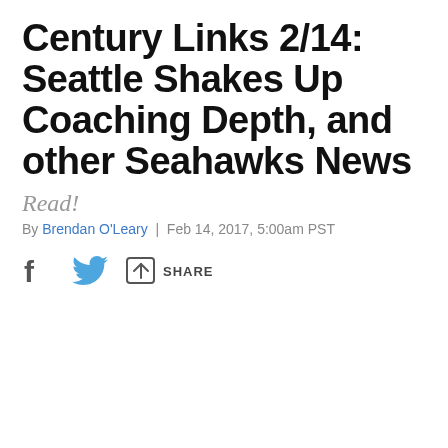Century Links 2/14: Seattle Shakes Up Coaching Depth, and other Seahawks News
Read!
By Brendan O'Leary | Feb 14, 2017, 5:00am PST
[Figure (other): Social share icons: Facebook icon, Twitter icon, and a share icon with the label SHARE]